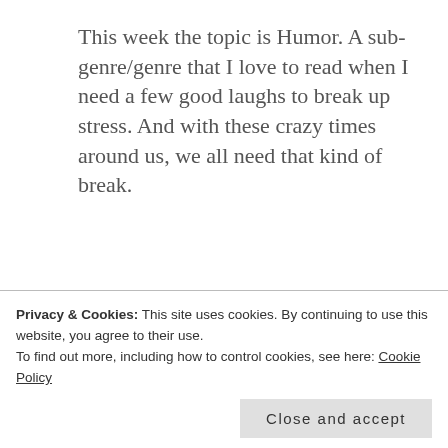This week the topic is Humor. A sub-genre/genre that I love to read when I need a few good laughs to break up stress. And with these crazy times around us, we all need that kind of break.
[Figure (illustration): Book cover of 'In Search of McDoogal' - light blue background with red/maroon text. Top left shows 'In Search of' in bold dark text, subtitle text 'A missing painting, two clueless guys, a comedy of errors' in italic. Large 'McDoogal' text in dark red italic at the bottom.]
#1 In Search of McDoogal by Mae Clair
Privacy & Cookies: This site uses cookies. By continuing to use this website, you agree to their use.
To find out more, including how to control cookies, see here: Cookie Policy
Close and accept
just that little bit.